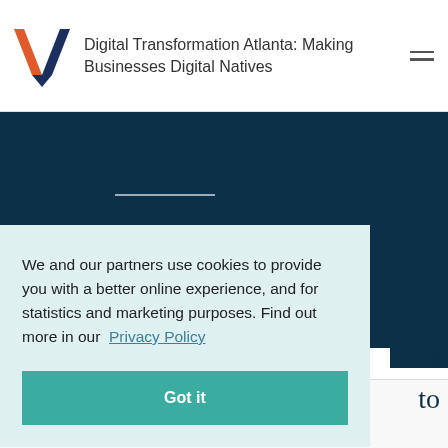Digital Transformation Atlanta: Making Businesses Digital Natives
[Figure (illustration): Dark teal hero section with decorative white horizontal line and large serif text beginning 'Let's chat']
We and our partners use cookies to provide you with a better online experience, and for statistics and marketing purposes. Find out more in our Privacy Policy
Got it